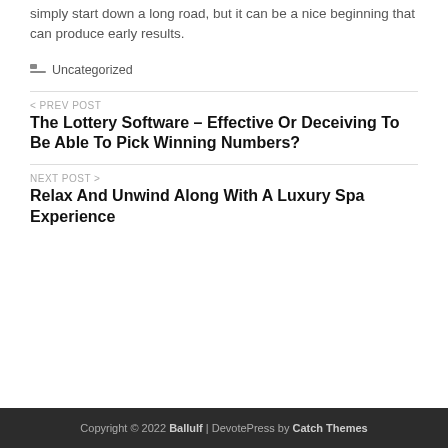simply start down a long road, but it can be a nice beginning that can produce early results.
Uncategorized
< PREV POST
The Lottery Software – Effective Or Deceiving To Be Able To Pick Winning Numbers?
NEXT POST >
Relax And Unwind Along With A Luxury Spa Experience
Copyright © 2022 Ballulf | DevotePress by Catch Themes